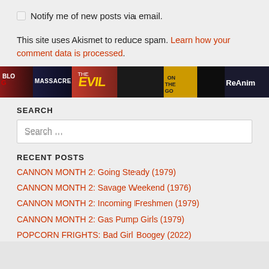Notify me of new posts via email.
This site uses Akismet to reduce spam. Learn how your comment data is processed.
[Figure (photo): A horizontal banner strip showing collage of horror movie posters/covers in dark tones]
SEARCH
Search …
RECENT POSTS
CANNON MONTH 2: Going Steady (1979)
CANNON MONTH 2: Savage Weekend (1976)
CANNON MONTH 2: Incoming Freshmen (1979)
CANNON MONTH 2: Gas Pump Girls (1979)
POPCORN FRIGHTS: Bad Girl Boogey (2022)